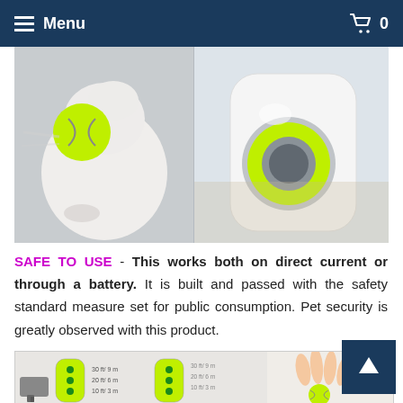Menu   0
[Figure (photo): Product photo showing a white dog with a neon yellow tennis ball and an automatic ball launcher device with a yellow-rimmed opening, shown against an indoor background.]
SAFE TO USE - This works both on direct current or through a battery. It is built and passed with the safety standard measure set for public consumption. Pet security is greatly observed with this product.
[Figure (photo): Product detail images showing the automatic ball launcher with distance settings (30 ft/9m, 20 ft/6m, 10 ft/3m), the power adapter, and a hand holding a neon yellow tennis ball near the device.]